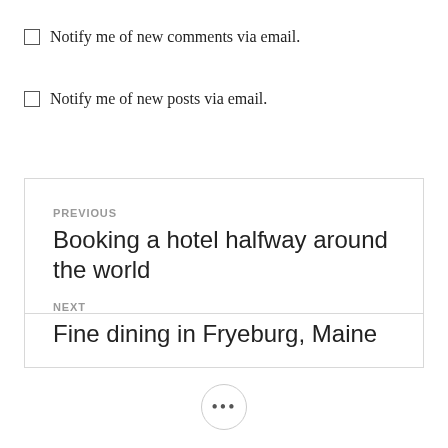Notify me of new comments via email.
Notify me of new posts via email.
PREVIOUS
Booking a hotel halfway around the world
NEXT
Fine dining in Fryeburg, Maine